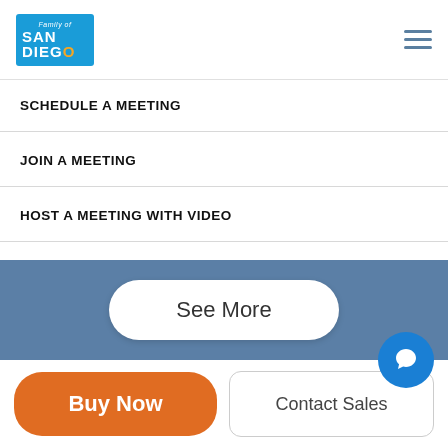Family of San Diego logo and hamburger menu
SCHEDULE A MEETING
JOIN A MEETING
HOST A MEETING WITH VIDEO
HOST A MEETING WITHOUT VIDEO
SIGN IN
SIGN UP FREE
See More
Buy Now
Contact Sales